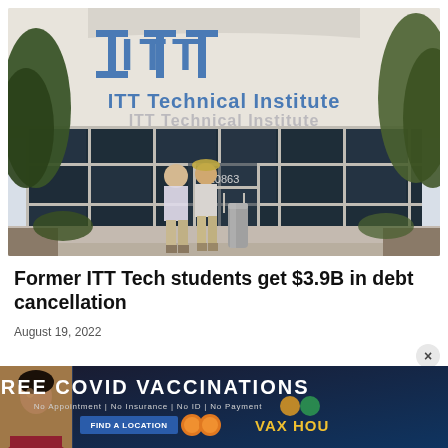[Figure (photo): Photo of ITT Technical Institute building exterior. Two people stand at the entrance of the glass-fronted building. The large blue ITT Technical Institute logo and letters are visible on the white facade. Address number 10863 is on the door.]
Former ITT Tech students get $3.9B in debt cancellation
August 19, 2022
[Figure (photo): Advertisement banner for Free Covid Vaccinations. Shows a person, text: FREE COVID VACCINATIONS, No Appointment | No Insurance | No ID | No Payment, FIND A LOCATION button, and VAX HOU branding.]